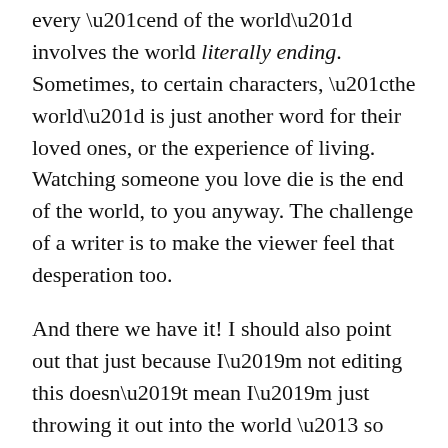every “end of the world” involves the world literally ending. Sometimes, to certain characters, “the world” is just another word for their loved ones, or the experience of living. Watching someone you love die is the end of the world, to you anyway. The challenge of a writer is to make the viewer feel that desperation too.
And there we have it! I should also point out that just because I’m not editing this doesn’t mean I’m just throwing it out into the world – so please, let me know what you think!
Oh, and if you have any questions… DM me (or comment).